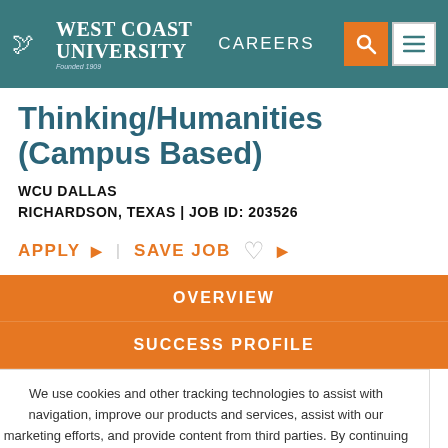West Coast University CAREERS
Thinking/Humanities (Campus Based)
WCU DALLAS
RICHARDSON, TEXAS | JOB ID: 203526
APPLY ▶  SAVE JOB ▶
OVERVIEW
SUCCESS PROFILE
We use cookies and other tracking technologies to assist with navigation, improve our products and services, assist with our marketing efforts, and provide content from third parties. By continuing to use this site you agree to our use of cookies in accordance with our privacy policy. Manage third-party cookie preferences here.